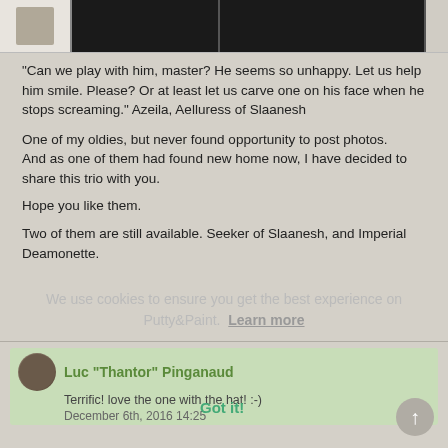[Figure (photo): Image strip at top showing a miniature figurine thumbnail on the left and two dark/black rectangular panels in the center and right]
"Can we play with him, master? He seems so unhappy. Let us help him smile. Please? Or at least let us carve one on his face when he stops screaming." Azeila, Aelluress of Slaanesh
One of my oldies, but never found opportunity to post photos. And as one of them had found new home now, I have decided to share this trio with you.
Hope you like them.
Two of them are still available. Seeker of Slaanesh, and Imperial Deamonette.
We use cookies to ensure you get the best experience on Putty&Paint.  Learn more
Luc "Thantor" Pinganaud
Terrific! love the one with the hat! :-)
December 6th, 2016 14:25